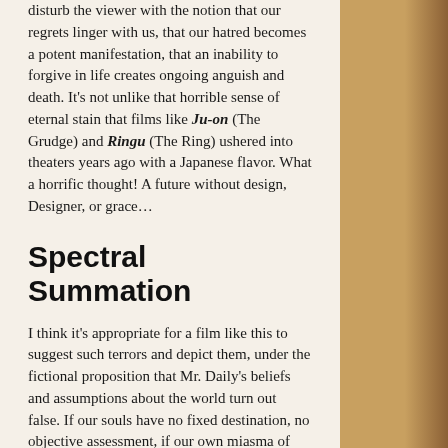disturb the viewer with the notion that our regrets linger with us, that our hatred becomes a potent manifestation, that an inability to forgive in life creates ongoing anguish and death. It's not unlike that horrible sense of eternal stain that films like Ju-on (The Grudge) and Ringu (The Ring) ushered into theaters years ago with a Japanese flavor. What a horrific thought! A future without design, Designer, or grace…
Spectral Summation
I think it's appropriate for a film like this to suggest such terrors and depict them, under the fictional proposition that Mr. Daily's beliefs and assumptions about the world turn out false. If our souls have no fixed destination, no objective assessment, if our own miasma of mingled emotions lock us or trap us or cause us to become a post-mortem monster, it's certainly no better reality than an overseeing God who justly judges. Even if both might hold elements of terror, which is worse? It's a subtler horror story of ideas that makes afterlife conversation a natural extension, for which I applaud it.